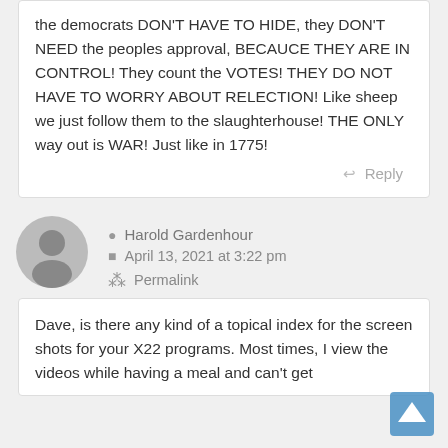the democrats DON'T HAVE TO HIDE, they DON'T NEED the peoples approval, BECAUCE THEY ARE IN CONTROL! They count the VOTES! THEY DO NOT HAVE TO WORRY ABOUT RELECTION! Like sheep we just follow them to the slaughterhouse! THE ONLY way out is WAR! Just like in 1775!
Reply
[Figure (illustration): Gray default user avatar icon (silhouette of a person in a circle)]
Harold Gardenhour
April 13, 2021 at 3:22 pm
Permalink
Dave, is there any kind of a topical index for the screen shots for your X22 programs. Most times, I view the videos while having a meal and can't get